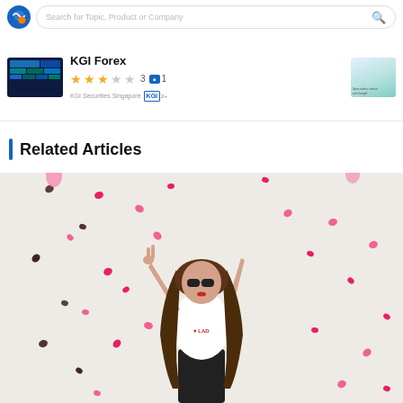Search for Topic, Product or Company
KGI Forex 3 stars 1 review — KGI Securities Singapore
Related Articles
[Figure (photo): Young woman in white t-shirt and sunglasses posing with peace sign, surrounded by heart-shaped confetti on white background]